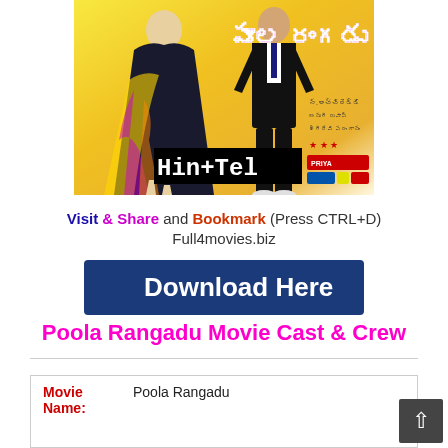[Figure (photo): Movie poster for Poola Rangadu showing two people (a woman in colorful dress and a man in black suit) with Telugu title text and 'Hin+Tel' watermark overlay in black/white on yellow background]
Visit & Share and Bookmark (Press CTRL+D) Full4movies.biz
[Figure (other): Dark blue rectangular download button with white bold text 'Download Here']
Poola Rangadu Movie Cast & Crew
| Movie Name: |  |
| --- | --- |
| Movie Name: | Poola Rangadu |